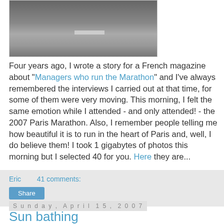[Figure (photo): Photo of a road/street surface, possibly a marathon route in Paris, showing pavement with a white line marking.]
Four years ago, I wrote a story for a French magazine about "Managers who run the Marathon" and I've always remembered the interviews I carried out at that time, for some of them were very moving. This morning, I felt the same emotion while I attended - and only attended! - the 2007 Paris Marathon. Also, I remember people telling me how beautiful it is to run in the heart of Paris and, well, I do believe them! I took 1 gigabytes of photos this morning but I selected 40 for you. Here they are...
Eric    41 comments:
Share
Sunday, April 15, 2007
Sun bathing